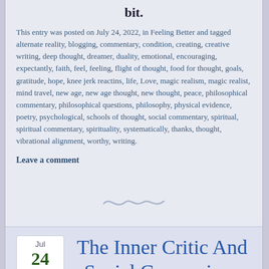bit.
This entry was posted on July 24, 2022, in Feeling Better and tagged alternate reality, blogging, commentary, condition, creating, creative writing, deep thought, dreamer, duality, emotional, encouraging, expectantly, faith, feel, feeling, flight of thought, food for thought, goals, gratitude, hope, knee jerk reactins, life, Love, magic realism, magic realist, mind travel, new age, new age thought, new thought, peace, philosophical commentary, philosophical questions, philosophy, physical evidence, poetry, psychological, schools of thought, social commentary, spiritual, spiritual commentary, spirituality, systematically, thanks, thought, vibrational alignment, worthy, writing.
Leave a comment
[Figure (illustration): Decorative tilde/swirl divider]
Jul 24
The Inner Critic And Social Comparison